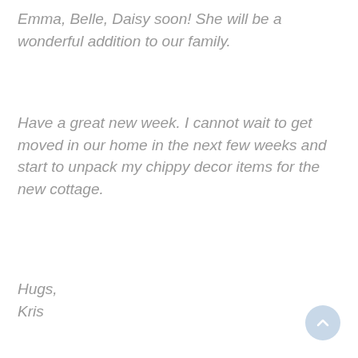Emma, Belle, Daisy soon!  She will be a wonderful addition to our family.
Have a great new week.  I cannot wait to get moved in our home in the next few weeks and start to unpack my chippy decor items for the new cottage.
Hugs,
Kris